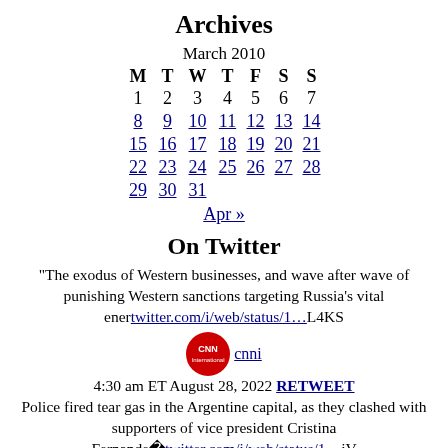Archives
| M | T | W | T | F | S | S |
| --- | --- | --- | --- | --- | --- | --- |
| 1 | 2 | 3 | 4 | 5 | 6 | 7 |
| 8 | 9 | 10 | 11 | 12 | 13 | 14 |
| 15 | 16 | 17 | 18 | 19 | 20 | 21 |
| 22 | 23 | 24 | 25 | 26 | 27 | 28 |
| 29 | 30 | 31 |  |  |  |  |
Apr »
On Twitter
"The exodus of Western businesses, and wave after wave of punishing Western sanctions targeting Russia's vital enertwitter.com/i/web/status/1…L4KS
cnni 4:30 am ET August 28, 2022 RETWEET Police fired tear gas in the Argentine capital, as they clashed with supporters of vice president Cristina Fernande�twitter.com/i/web/status/1…jV